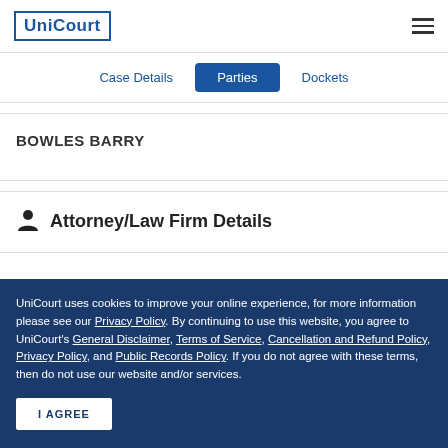UniCourt
Case Details | Parties | Dockets
BOWLES BARRY
Attorney/Law Firm Details
UniCourt uses cookies to improve your online experience, for more information please see our Privacy Policy. By continuing to use this website, you agree to UniCourt's General Disclaimer, Terms of Service, Cancellation and Refund Policy, Privacy Policy, and Public Records Policy. If you do not agree with these terms, then do not use our website and/or services.
I AGREE